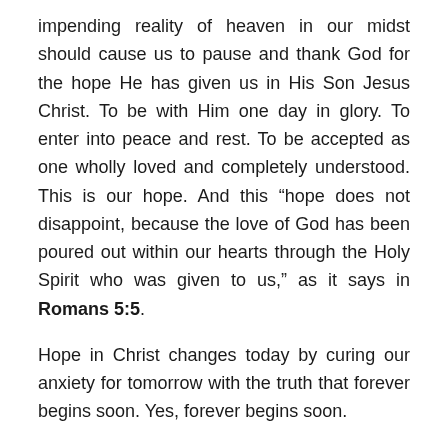impending reality of heaven in our midst should cause us to pause and thank God for the hope He has given us in His Son Jesus Christ. To be with Him one day in glory. To enter into peace and rest. To be accepted as one wholly loved and completely understood. This is our hope. And this “hope does not disappoint, because the love of God has been poured out within our hearts through the Holy Spirit who was given to us,” as it says in Romans 5:5.
Hope in Christ changes today by curing our anxiety for tomorrow with the truth that forever begins soon. Yes, forever begins soon.
Jesus proclaims in Revelation 22:7, “Look, I am coming soon!” and again in verse 12, “Look, I am coming soon!” John writes down these powerful words of Jesus as he recalls his experience of this revelation. In Revelation 22:20, he writes, “He who testifies to these things